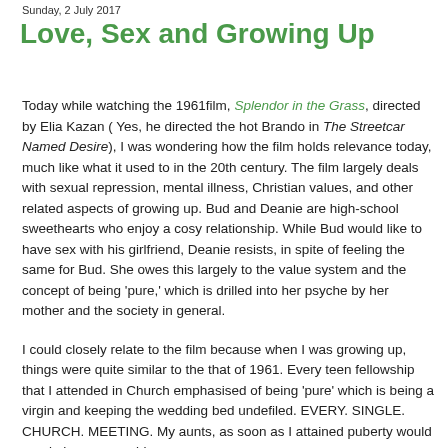Sunday, 2 July 2017
Love, Sex and Growing Up
Today while watching the 1961film, Splendor in the Grass, directed by Elia Kazan ( Yes, he directed the hot Brando in The Streetcar Named Desire), I was wondering how the film holds relevance today, much like what it used to in the 20th century. The film largely deals with sexual repression, mental illness, Christian values, and other related aspects of growing up. Bud and Deanie are high-school sweethearts who enjoy a cosy relationship. While Bud would like to have sex with his girlfriend, Deanie resists, in spite of feeling the same for Bud. She owes this largely to the value system and the concept of being 'pure,' which is drilled into her psyche by her mother and the society in general.
I could closely relate to the film because when I was growing up, things were quite similar to the that of 1961. Every teen fellowship that I attended in Church emphasised of being 'pure' which is being a virgin and keeping the wedding bed undefiled. EVERY. SINGLE. CHURCH. MEETING. My aunts, as soon as I attained puberty would regale how every girl